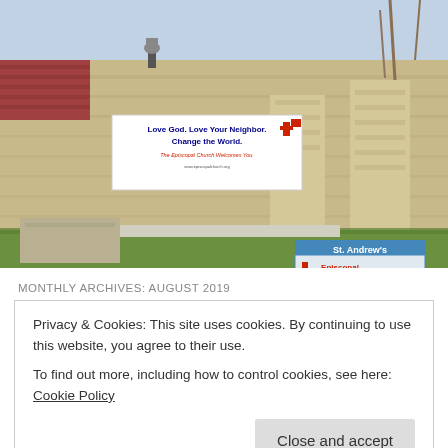[Figure (photo): Photograph of St. Andrew's Episcopal Church exterior stone wall with two signs: a banner reading 'Love God. Love Your Neighbor. Change the World. The Episcopal Church Welcomes You.' and a blue church sign reading 'St. Andrew's Episcopal Church' with a cross logo. Trees visible in background, green grass in foreground.]
MONTHLY ARCHIVES: AUGUST 2019
Privacy & Cookies: This site uses cookies. By continuing to use this website, you agree to their use.
To find out more, including how to control cookies, see here: Cookie Policy
Close and accept
This content, shared by The Holy Way Jones at St...